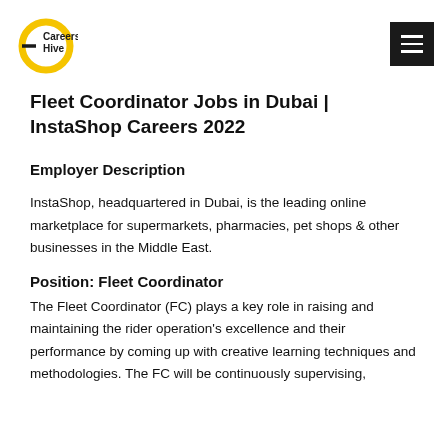Careers Hive
Fleet Coordinator Jobs in Dubai | InstaShop Careers 2022
Employer Description
InstaShop, headquartered in Dubai, is the leading online marketplace for supermarkets, pharmacies, pet shops & other businesses in the Middle East.
Position: Fleet Coordinator
The Fleet Coordinator (FC) plays a key role in raising and maintaining the rider operation's excellence and their performance by coming up with creative learning techniques and methodologies. The FC will be continuously supervising,